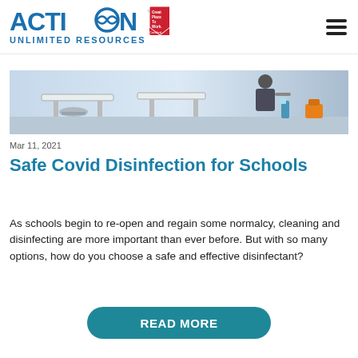[Figure (logo): Action Unlimited Resources logo with 'Great Place To Work Certified' badge]
[Figure (photo): Classroom cleaning scene showing desks, chairs, and a person disinfecting surfaces with cleaning supplies]
Mar 11, 2021
Safe Covid Disinfection for Schools
As schools begin to re-open and regain some normalcy, cleaning and disinfecting are more important than ever before. But with so many options, how do you choose a safe and effective disinfectant?
READ MORE